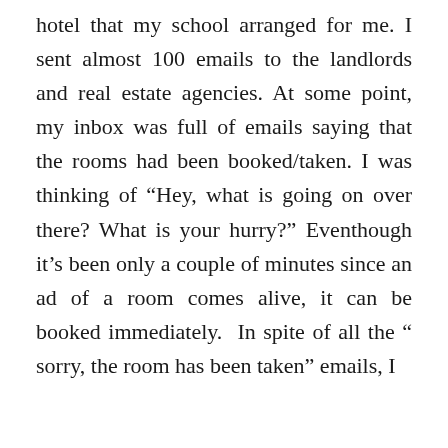hotel that my school arranged for me. I sent almost 100 emails to the landlords and real estate agencies. At some point, my inbox was full of emails saying that the rooms had been booked/taken. I was thinking of “Hey, what is going on over there? What is your hurry?” Eventhough it’s been only a couple of minutes since an ad of a room comes alive, it can be booked immediately. In spite of all the “ sorry, the room has been taken” emails, I